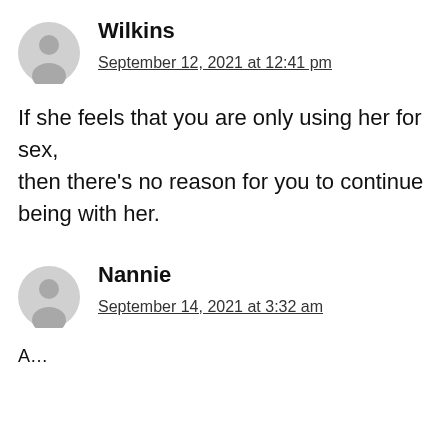Wilkins
September 12, 2021 at 12:41 pm
If she feels that you are only using her for sex, then there's no reason for you to continue being with her.
Nannie
September 14, 2021 at 3:32 am
A…